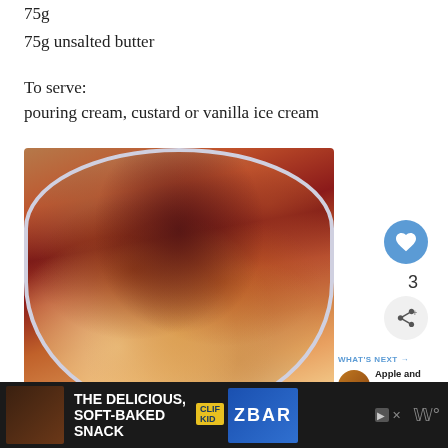75g
75g unsalted butter
To serve:
pouring cream, custard or vanilla ice cream
[Figure (photo): A close-up photo of apple and blackberry crumble served in a white bowl with blue rim, topped with crumble topping and served with cream or ice cream]
3
WHAT'S NEXT → Apple and Blackberry...
THE DELICIOUS, SOFT-BAKED SNACK